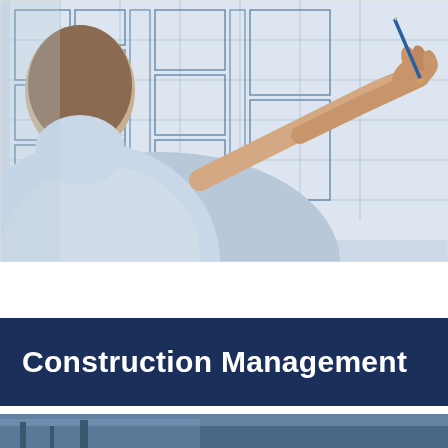[Figure (photo): A person in a light blue shirt drawing on architectural/engineering blueprint plans with a blue pencil, viewed from behind over their shoulder. The blueprints show floor plans with detailed room layouts.]
Construction Management
[Figure (photo): Partial view of another construction-related photo at the bottom of the page, cropped.]